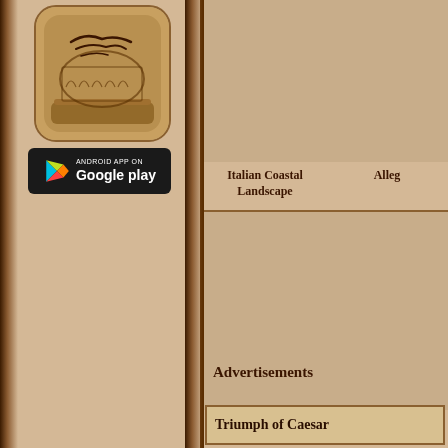[Figure (illustration): App icon with historical Rome theme on a book/scroll background]
[Figure (logo): Google Play store badge - ANDROID APP ON Google play]
Italian Coastal Landscape
Alleg...
La Disputa
De...
Advertisements
Triumph of Caesar